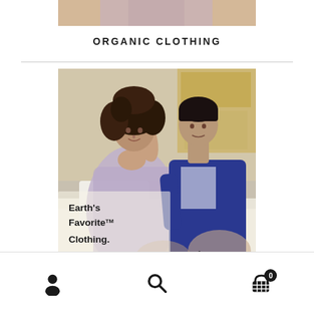[Figure (photo): Cropped bottom portion of a person sitting, wearing a light pink/mauve dress or shorts, visible from waist to thighs]
ORGANIC CLOTHING
[Figure (photo): Advertisement photo for Pact organic clothing brand. A woman with curly hair wearing a lavender/purple dress and a man in a navy blue shirt sit together on a white bed. Text overlay reads: Earth's Favorite™ Clothing. Brand name 'pact' visible at bottom right.]
Navigation bar with user account icon, search icon, and shopping cart icon with badge showing 0